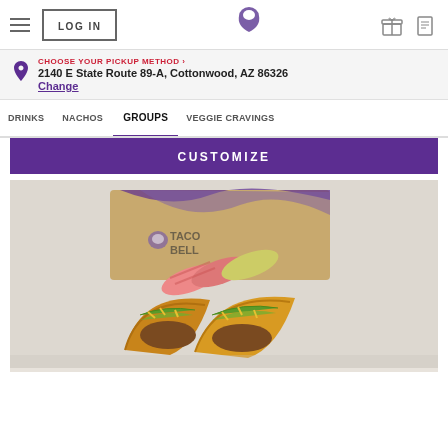LOG IN | Taco Bell | [gift icon] [card icon]
CHOOSE YOUR PICKUP METHOD ›
2140 E State Route 89-A, Cottonwood, AZ 86326
Change
DRINKS   NACHOS   GROUPS   VEGGIE CRAVINGS
CUSTOMIZE
[Figure (photo): Taco Bell box with three tacos (two hard shell tacos with ground beef, lettuce, and shredded cheese, plus burritos in background) displayed on a light wood surface]